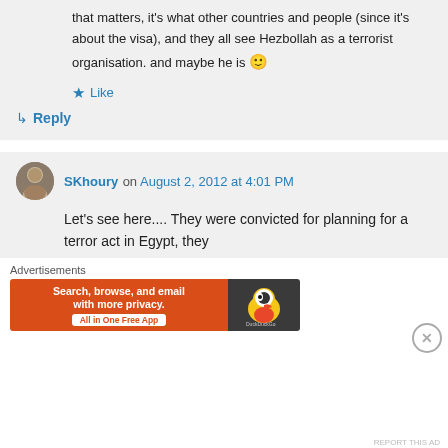that matters, it's what other countries and people (since it's about the visa), and they all see Hezbollah as a terrorist organisation. and maybe he is 🙂
★ Like
↳ Reply
SKhoury on August 2, 2012 at 4:01 PM
Let's see here.... They were convicted for planning for a terror act in Egypt, they
Advertisements
[Figure (screenshot): DuckDuckGo advertisement banner: orange background with text 'Search, browse, and email with more privacy. All in One Free App' and DuckDuckGo duck logo on dark background.]